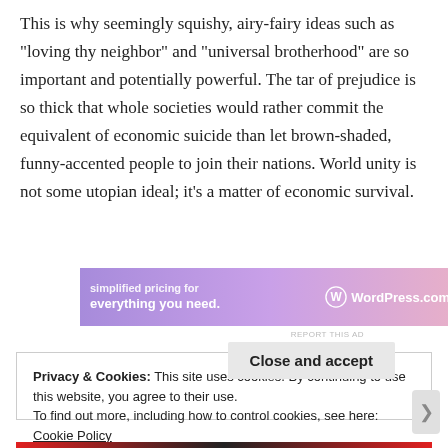This is why seemingly squishy, airy-fairy ideas such as “loving thy neighbor” and “universal brotherhood” are so important and potentially powerful. The tar of prejudice is so thick that whole societies would rather commit the equivalent of economic suicide than let brown-shaded, funny-accented people to join their nations. World unity is not some utopian ideal; it’s a matter of economic survival.
[Figure (other): WordPress.com advertisement banner with gradient purple-pink background showing 'Simplified pricing for everything you need.' and WordPress.com logo]
Privacy & Cookies: This site uses cookies. By continuing to use this website, you agree to their use.
To find out more, including how to control cookies, see here: Cookie Policy
Close and accept